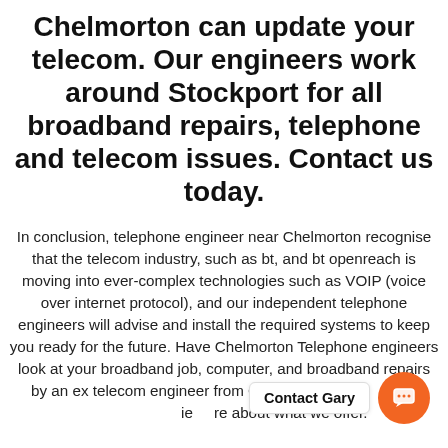Chelmorton can update your telecom. Our engineers work around Stockport for all broadband repairs, telephone and telecom issues. Contact us today.
In conclusion, telephone engineer near Chelmorton recognise that the telecom industry, such as bt, and bt openreach is moving into ever-complex technologies such as VOIP (voice over internet protocol), and our independent telephone engineers will advise and install the required systems to keep you ready for the future. Have Chelmorton Telephone engineers look at your broadband job, computer, and broadband repairs by an ex telecom engineer from Chelmorton contact us to find out more about what we offer.